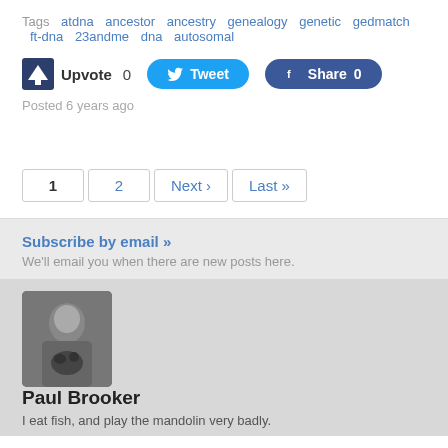Tags  atdna  ancestor  ancestry  genealogy  genetic  gedmatch  ft-dna  23andme  dna  autosomal
Upvote 0  Tweet  Share 0
Posted 6 years ago
1  2  Next ›  Last »
Subscribe by email »
We'll email you when there are new posts here.
[Figure (photo): Black and white photo of Paul Brooker holding a cat]
Paul Brooker
I eat fish, and play the mandolin very badly.